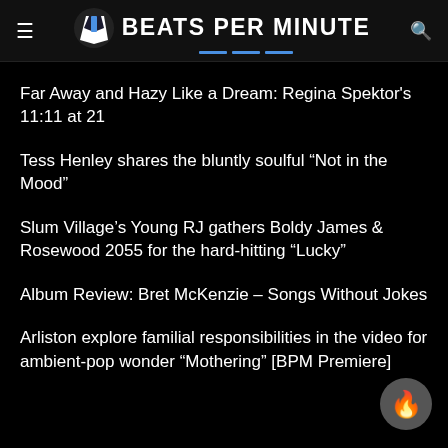BEATS PER MINUTE
Far Away and Hazy Like a Dream: Regina Spektor's 11:11 at 21
Tess Henley shares the bluntly soulful “Not in the Mood”
Slum Village’s Young RJ gathers Boldy James & Rosewood 2055 for the hard-hitting “Lucky”
Album Review: Bret McKenzie – Songs Without Jokes
Arliston explore familial responsibilities in the video for ambient-pop wonder “Mothering” [BPM Premiere]